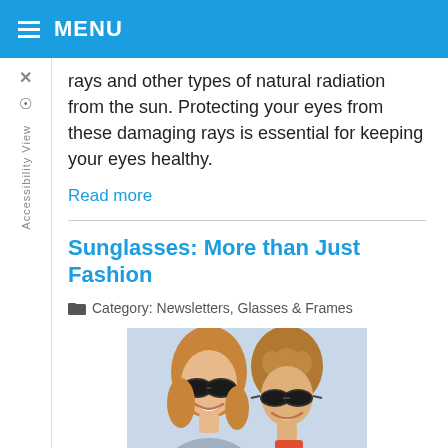MENU
rays and other types of natural radiation from the sun. Protecting your eyes from these damaging rays is essential for keeping your eyes healthy.
Read more
Sunglasses: More than Just Fashion
Category: Newsletters, Glasses & Frames
[Figure (photo): A smiling couple wearing dark sunglasses, photographed outdoors.]
Sunglasses can make us look awkward or chic, but their real value lies in their ability to protect our eyes.